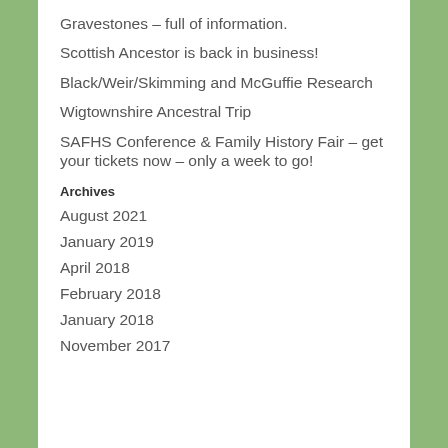Gravestones – full of information.
Scottish Ancestor is back in business!
Black/Weir/Skimming and McGuffie Research
Wigtownshire Ancestral Trip
SAFHS Conference & Family History Fair – get your tickets now – only a week to go!
Archives
August 2021
January 2019
April 2018
February 2018
January 2018
November 2017